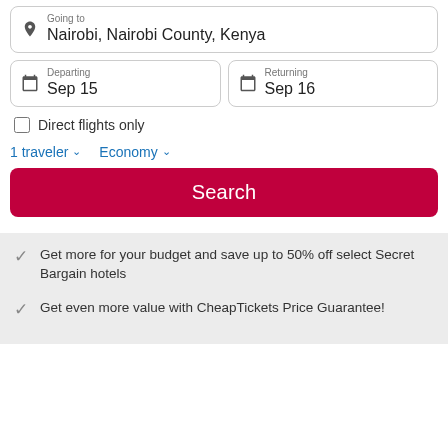Going to
Nairobi, Nairobi County, Kenya
Departing
Sep 15
Returning
Sep 16
Direct flights only
1 traveler
Economy
Search
Get more for your budget and save up to 50% off select Secret Bargain hotels
Get even more value with CheapTickets Price Guarantee!